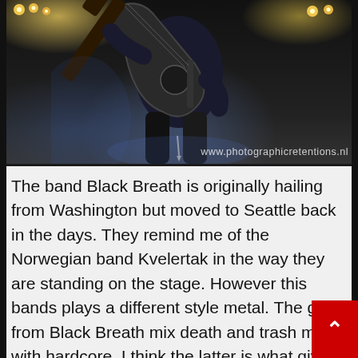[Figure (photo): Concert photo of a guitarist on stage leaning forward while playing a dark electric guitar, with bright stage lights in the background. Watermark reads www.photographicretentions.nl]
The band Black Breath is originally hailing from Washington but moved to Seattle back in the days. They remind me of the Norwegian band Kvelertak in the way they are standing on the stage. However this bands plays a different style metal. The guys from Black Breath mix death and trash metal with hardcore. I think the latter is what gives them energy on stage. The band had to play as the first band at the same time with the Finnish Omnium Gatherum. There w enough people in front of the EMP stage already at this